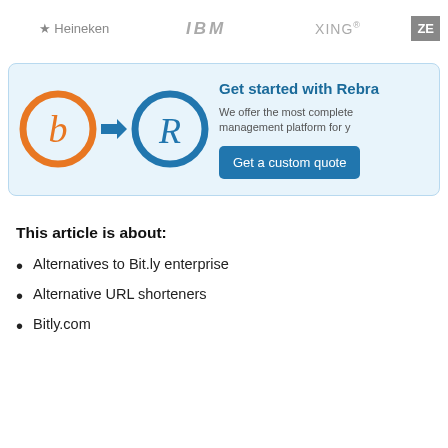[Figure (logo): Row of company logos: Heineken (star icon), IBM, XING, and a partially visible ZE logo on the right edge]
[Figure (infographic): Advertisement box with light blue background. Shows Bitly orange logo circle with 'b' letter, arrow pointing right, Rebrandly blue logo circle with 'R' letter. Text: 'Get started with Rebra...' and 'We offer the most complete management platform for y...' with a blue button 'Get a custom quote']
This article is about:
Alternatives to Bit.ly enterprise
Alternative URL shorteners
Bitly.com